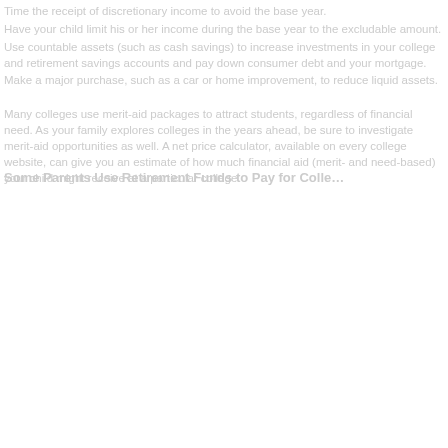Time the receipt of discretionary income to avoid the base year.
Have your child limit his or her income during the base year to the excludable amount.
Use countable assets (such as cash savings) to increase investments in your college and retirement savings accounts and pay down consumer debt and your mortgage.
Make a major purchase, such as a car or home improvement, to reduce liquid assets.
Many colleges use merit-aid packages to attract students, regardless of financial need. As your family explores colleges in the years ahead, be sure to investigate merit-aid opportunities as well. A net price calculator, available on every college website, can give you an estimate of how much financial aid (merit- and need-based) your child might receive at a particular college.
Some Parents Use Retirement Funds to Pay for Colle…